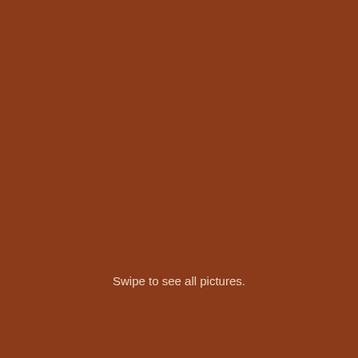[Figure (illustration): Solid burnt-orange/terracotta colored background filling the entire page.]
Swipe to see all pictures.